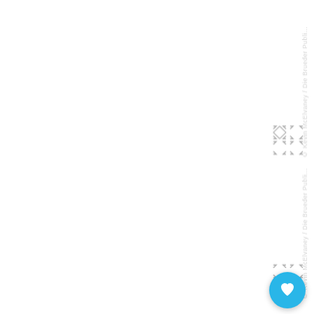[Figure (screenshot): White background page with watermark text '© Kevin McElvaney / Die Brueder Publi...' rotated vertically along right edge, appearing twice (top and bottom sections), with small expand/resize icons and a cyan/turquoise circular heart button in bottom-right corner.]